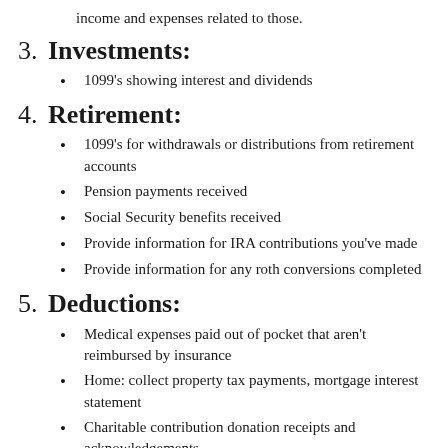income and expenses related to those.
3. Investments:
1099's showing interest and dividends
4. Retirement:
1099's for withdrawals or distributions from retirement accounts
Pension payments received
Social Security benefits received
Provide information for IRA contributions you've made
Provide information for any roth conversions completed
5. Deductions:
Medical expenses paid out of pocket that aren't reimbursed by insurance
Home: collect property tax payments, mortgage interest statement
Charitable contribution donation receipts and acknowledgements